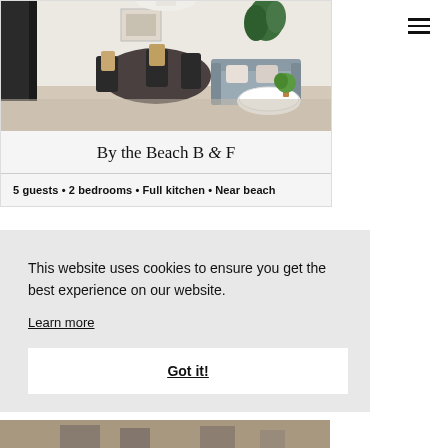[Figure (photo): Interior photo of a modern apartment living/dining area with dark dining chairs, wooden table, grey sofa, plants, and light wood flooring]
By the Beach B & F
5 guests • 2 bedrooms • Full kitchen • Near beach
This website uses cookies to ensure you get the best experience on our website.
Learn more
Got it!
[Figure (photo): Partial bottom image, appears to be another room or exterior]